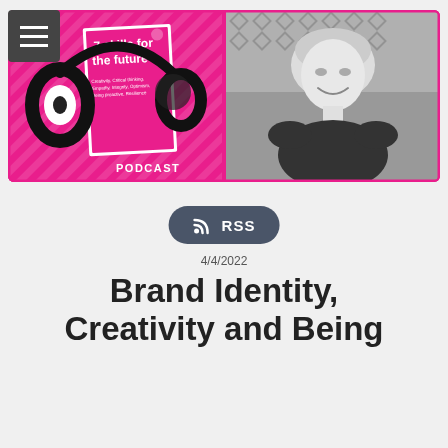[Figure (photo): Podcast banner with two panels: left panel shows pink book cover '7 skills for the future' with headphones illustration and PODCAST label; right panel shows black and white photo of a smiling woman with short blonde hair against a lattice background.]
[Figure (other): RSS button - dark rounded rectangle with RSS icon and RSS text in white]
4/4/2022
Brand Identity, Creativity and Being